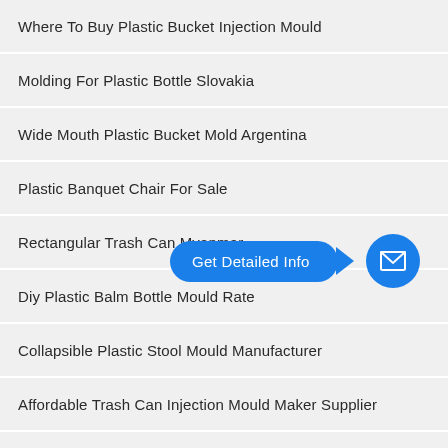Where To Buy Plastic Bucket Injection Mould
Molding For Plastic Bottle Slovakia
Wide Mouth Plastic Bucket Mold Argentina
Plastic Banquet Chair For Sale
Rectangular Trash Can Myanmar
Diy Plastic Balm Bottle Mould Rate
Collapsible Plastic Stool Mould Manufacturer
Affordable Trash Can Injection Mould Maker Supplier
Used Plastic Pallets Mould Midland Tx
Reusable Pallet Mould Denmark
[Figure (infographic): Blue 'Get Detailed Info' speech bubble button with arrow pointing right to a blue circle with envelope/mail icon]